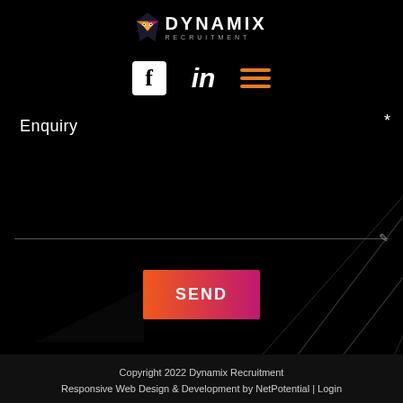[Figure (logo): Dynamix Recruitment logo with fox icon and text DYNAMIX RECRUITMENT]
[Figure (infographic): Social media icons row: Facebook, LinkedIn, hamburger menu (orange)]
Enquiry
[Figure (infographic): Decorative diagonal lines on dark background and triangle shape]
[Figure (infographic): Send button with orange-to-pink gradient labeled SEND]
Copyright 2022 Dynamix Recruitment
Responsive Web Design & Development by NetPotential | Login